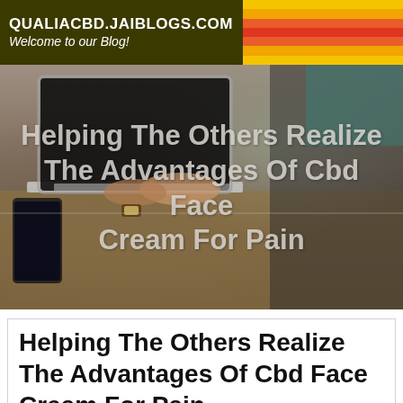QUALIACBD.JAIBLOGS.COM – Welcome to our Blog!
[Figure (photo): Person typing on a laptop at a wooden desk, with a smartphone nearby. Overlay text reads: Helping The Others Realize The Advantages Of Cbd Face Cream For Pain]
Helping The Others Realize The Advantages Of Cbd Face Cream For Pain